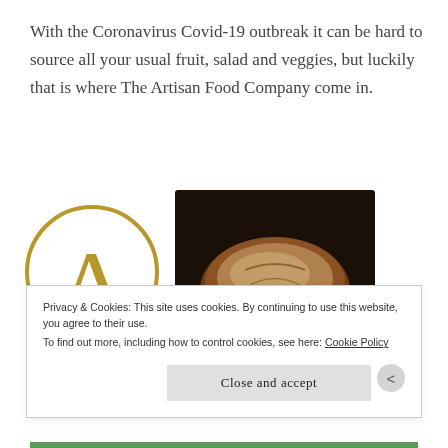With the Coronavirus Covid-19 outbreak it can be hard to source all your usual fruit, salad and veggies, but luckily that is where The Artisan Food Company come in.
[Figure (logo): The Artisan Food Company logo: a gold capital letter A inside a gold circle]
[Figure (photo): The Artisan Food Company branded image showing hands holding a rustic loaf of bread on a dark background, with the company name 'THE ARTISAN FOOD COMPANY INDIVIDUAL & DELICIOUS' in a white banner overlay]
Privacy & Cookies: This site uses cookies. By continuing to use this website, you agree to their use.
To find out more, including how to control cookies, see here: Cookie Policy
Close and accept